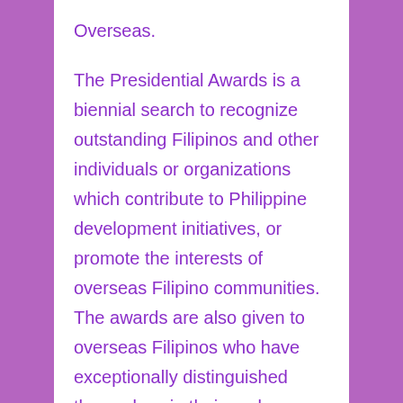Overseas.
The Presidential Awards is a biennial search to recognize outstanding Filipinos and other individuals or organizations which contribute to Philippine development initiatives, or promote the interests of overseas Filipino communities.  The awards are also given to overseas Filipinos who have exceptionally distinguished themselves in their work or profession.
The Presidential Awards has the following categories: